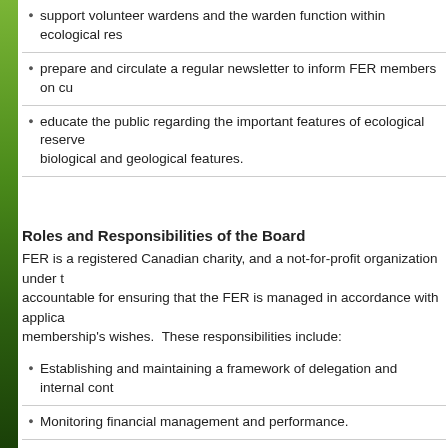support volunteer wardens and the warden function within ecological reserves
prepare and circulate a regular newsletter to inform FER members on current issues
educate the public regarding the important features of ecological reserves including biological and geological features.
Roles and Responsibilities of the Board
FER is a registered Canadian charity, and a not-for-profit organization under the Society Act. The Board is accountable for ensuring that the FER is managed in accordance with applicable legislation and the membership's wishes. These responsibilities include:
Establishing and maintaining a framework of delegation and internal controls.
Monitoring financial management and performance.
Establishing and pursuing a strategic direction in keeping with the FER's mission as articulated in its Strategic Plan.
Evaluating and improving the performance of the Board.
Promoting and supporting the FER, its members, and the volunteer ER wardens.
Responsibilities of Individual Board Members